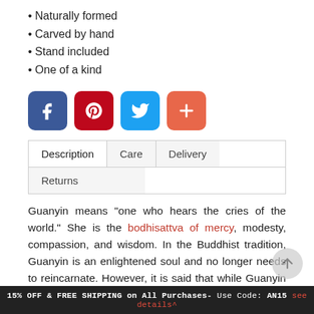• Naturally formed
• Carved by hand
• Stand included
• One of a kind
[Figure (infographic): Social sharing buttons: Facebook (blue), Pinterest (red), Twitter (light blue), Plus/Add (orange-red)]
| Description | Care | Delivery |
| --- | --- | --- |
| Returns |  |  |
Guanyin means "one who hears the cries of the world." She is the bodhisattva of mercy, modesty, compassion, and wisdom. In the Buddhist tradition, Guanyin is an enlightened soul and no longer needs to reincarnate. However, it is said that while Guanyin was ascending into the spirit world, she heard the cries of the
15% OFF & FREE SHIPPING on All Purchases- Use Code: AN15 see details^